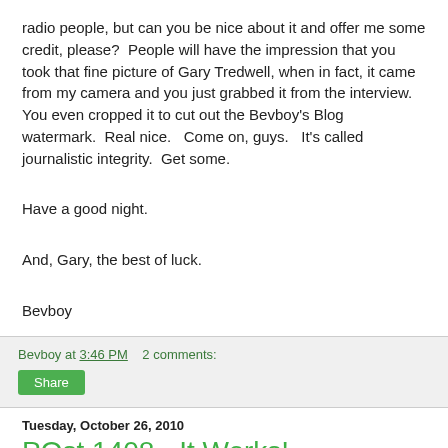radio people, but can you be nice about it and offer me some credit, please?  People will have the impression that you took that fine picture of Gary Tredwell, when in fact, it came from my camera and you just grabbed it from the interview.  You even cropped it to cut out the Bevboy's Blog watermark.  Real nice.   Come on, guys.   It's called journalistic integrity.  Get some.
Have a good night.
And, Gary, the best of luck.
Bevboy
Bevboy at 3:46 PM    2 comments:
Share
Tuesday, October 26, 2010
POst 1408 - It Works!